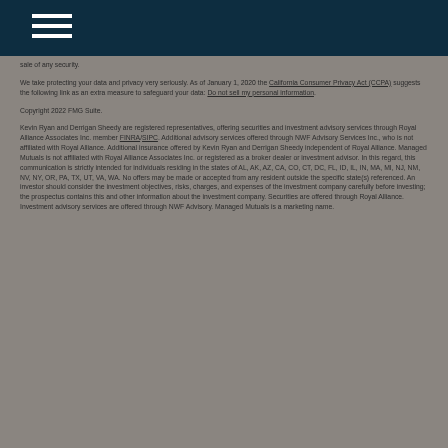Navigation menu header bar
sale of any security.
We take protecting your data and privacy very seriously. As of January 1, 2020 the California Consumer Privacy Act (CCPA) suggests the following link as an extra measure to safeguard your data: Do not sell my personal information.
Copyright 2022 FMG Suite.
Kevin Ryan and Derrigan Sheedy are registered representatives, offering securities and investment advisory services through Royal Alliance Associates Inc. member FINRA/SIPC. Additional advisory services offered through NWF Advisory Services Inc., who is not affiliated with Royal Alliance. Additional insurance offered by Kevin Ryan and Derrigan Sheedy independent of Royal Alliance. Managed Mutuals is not affiliated with Royal Alliance Associates Inc. or registered as a broker dealer or investment advisor. In this regard, this communication is strictly intended for individuals residing in the states of AL, AK, AZ, CA, CO, CT, DC, FL, ID, IL, IN, MA, MI, NJ, NM, NV, NY, OR, PA, TX, UT, VA, WA. No offers may be made or accepted from any resident outside the specific state(s) referenced. An investor should consider the investment objectives, risks, charges, and expenses of the investment company carefully before investing; the prospectus contains this and other information about the investment company. Securities are offered through Royal Alliance. Investment advisory services are offered through NWF Advisory. Managed Mutuals is a marketing name.